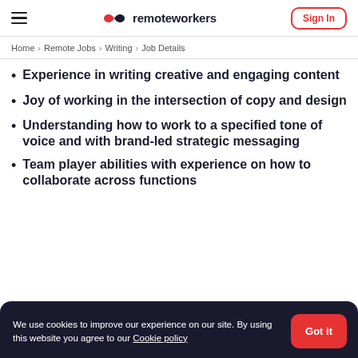remoteworkers   Sign In
Home > Remote Jobs > Writing > Job Details
Experience in writing creative and engaging content
Joy of working in the intersection of copy and design
Understanding how to work to a specified tone of voice and with brand-led strategic messaging
Team player abilities with experience on how to collaborate across functions
We use cookies to improve our experience on our site. By using this website you agree to our Cookie policy   Got it